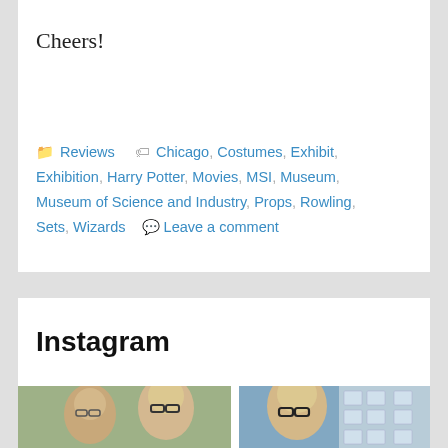Cheers!
Reviews · Chicago, Costumes, Exhibit, Exhibition, Harry Potter, Movies, MSI, Museum, Museum of Science and Industry, Props, Rowling, Sets, Wizards · Leave a comment
Instagram
[Figure (photo): Two women smiling outdoors, one with dark hair and glasses, one with light hair and dark-framed glasses, with green foliage in background]
[Figure (photo): Woman with light hair and dark-framed glasses taking a selfie indoors, city buildings visible through window behind her]